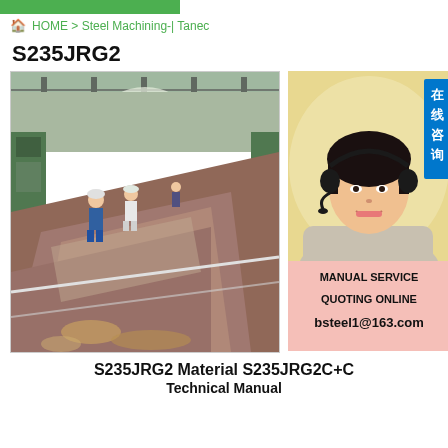HOME > Steel Machining-| Tanec
S235JRG2
[Figure (photo): Factory floor showing steel plates with workers in protective gear, industrial steel machining facility]
[Figure (photo): Customer service advisor wearing headset, with Chinese text badge '在线咨询' (Online Consultation), MANUAL SERVICE, QUOTING ONLINE, bsteel1@163.com]
S235JRG2 Material S235JRG2C+C
Technical Manual